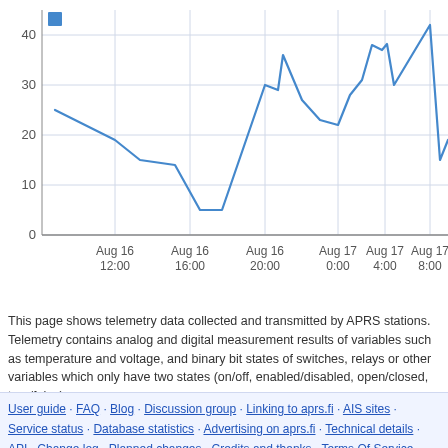[Figure (line-chart): ]
This page shows telemetry data collected and transmitted by APRS stations. Telemetry contains analog and digital measurement results of variables such as temperature and voltage, and binary bit states of switches, relays or other variables which only have two states (on/off, enabled/disabled, open/closed, true/false).
User guide · FAQ · Blog · Discussion group · Linking to aprs.fi · AIS sites · Service status · Database statistics · Advertising on aprs.fi · Technical details · API · Change log · Planned changes · Credits and thanks · Terms Of Service · iPhone/iPad APRS